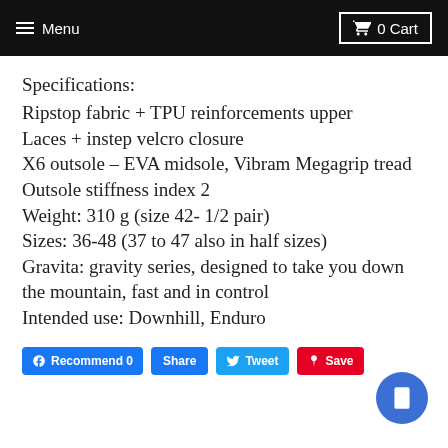Menu | 0 Cart
Specifications:
Ripstop fabric + TPU reinforcements upper
Laces + instep velcro closure
X6 outsole – EVA midsole, Vibram Megagrip tread
Outsole stiffness index 2
Weight: 310 g (size 42- 1/2 pair)
Sizes: 36-48 (37 to 47 also in half sizes)
Gravita: gravity series, designed to take you down the mountain, fast and in control
Intended use: Downhill, Enduro
Recommend 0 | Share | Tweet | Save